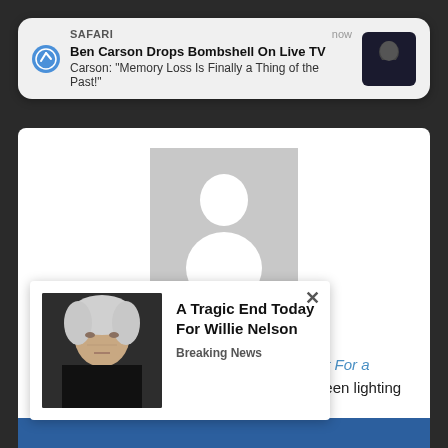[Figure (screenshot): Safari browser push notification banner showing: app name 'SAFARI', time 'now', title 'Ben Carson Drops Bombshell On Live TV', body text 'Carson: "Memory Loss Is Finally a Thing of the Past!"', with a thumbnail photo of Ben Carson on the right]
[Figure (photo): Default grey user profile avatar placeholder image]
Wes Walker
Wes Walker is the author of "Blueprint For a Government that Doesn't Suck". He has been lighting up Clashdaily.com
[Figure (screenshot): Ad popup overlay with close X button, photo of Willie Nelson (elderly man with white hair), headline 'A Tragic End Today For Willie Nelson', label 'Breaking News']